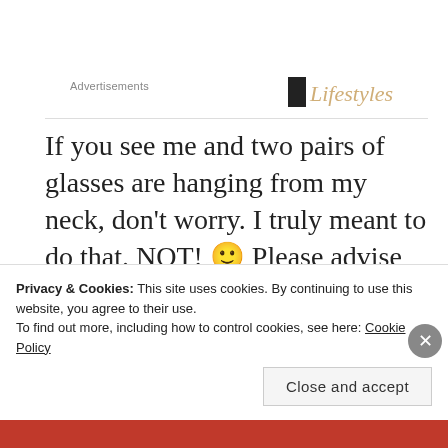Advertisements
If you see me and two pairs of glasses are hanging from my neck, don't worry. I truly meant to do that. NOT! 🙂 Please advise me of my mistake so I won't feel silly…
Privacy & Cookies: This site uses cookies. By continuing to use this website, you agree to their use.
To find out more, including how to control cookies, see here: Cookie Policy
Close and accept